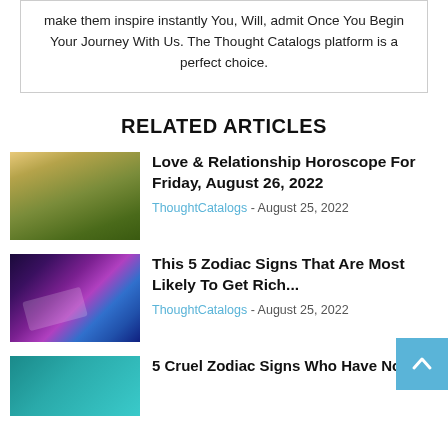make them inspire instantly You, Will, admit Once You Begin Your Journey With Us. The Thought Catalogs platform is a perfect choice.
RELATED ARTICLES
[Figure (photo): A couple sitting together in a sunny green field]
Love & Relationship Horoscope For Friday, August 26, 2022
ThoughtCatalogs - August 25, 2022
[Figure (photo): Money flying through space with colorful galaxy background]
This 5 Zodiac Signs That Are Most Likely To Get Rich...
ThoughtCatalogs - August 25, 2022
[Figure (photo): Teal/turquoise colored image for zodiac article]
5 Cruel Zodiac Signs Who Have No